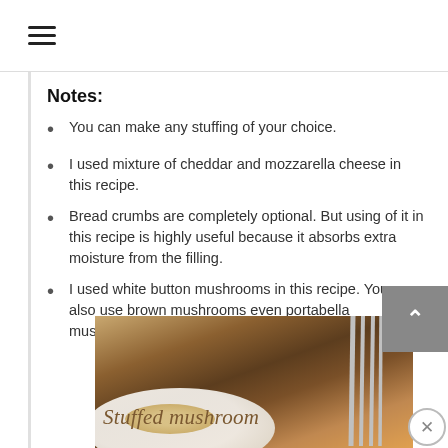≡
Notes:
You can make any stuffing of your choice.
I used mixture of cheddar and mozzarella cheese in this recipe.
Bread crumbs are completely optional. But using of it in this recipe is highly useful because it absorbs extra moisture from the filling.
I used white button mushrooms in this recipe. You can also use brown mushrooms even portabella mushrooms.
[Figure (photo): Photo of a stuffed mushroom dish on a white plate with a fork and dark napkin, with cursive text reading 'Stuffed mushroom']